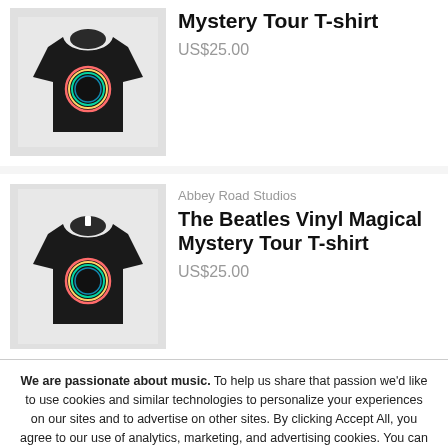[Figure (photo): Black Beatles Vinyl Magical Mystery Tour T-shirt with colorful circular logo (top product listing image)]
Mystery Tour T-shirt
US$25.00
[Figure (photo): Black Beatles Vinyl Magical Mystery Tour T-shirt with colorful circular logo (bottom product listing image)]
Abbey Road Studios
The Beatles Vinyl Magical Mystery Tour T-shirt
US$25.00
We are passionate about music. To help us share that passion we'd like to use cookies and similar technologies to personalize your experiences on our sites and to advertise on other sites. By clicking Accept All, you agree to our use of analytics, marketing, and advertising cookies. You can revoke your consent at any time. For more information and additional choices click on Cookie Choices below. Privacy Policy.
Accept All
Cookie Choices
Decline All